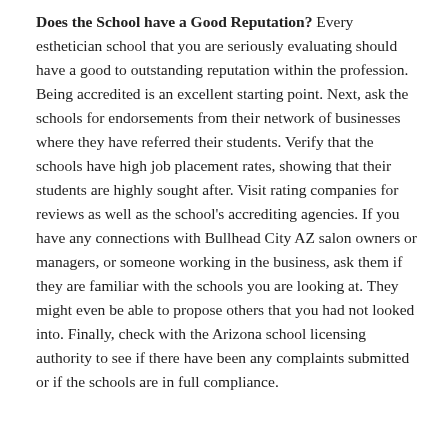Does the School have a Good Reputation? Every esthetician school that you are seriously evaluating should have a good to outstanding reputation within the profession. Being accredited is an excellent starting point. Next, ask the schools for endorsements from their network of businesses where they have referred their students. Verify that the schools have high job placement rates, showing that their students are highly sought after. Visit rating companies for reviews as well as the school's accrediting agencies. If you have any connections with Bullhead City AZ salon owners or managers, or someone working in the business, ask them if they are familiar with the schools you are looking at. They might even be able to propose others that you had not looked into. Finally, check with the Arizona school licensing authority to see if there have been any complaints submitted or if the schools are in full compliance.